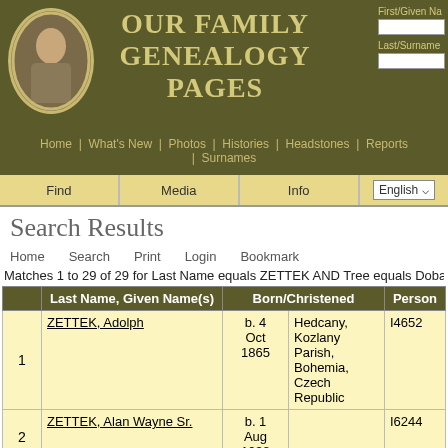Our Family Genealogy Pages
Home | What's New | Photos | Histories | Headstones | Reports | Surnames
Find   Media   Info   English
Search Results
Home   Search   Print   Login   Bookmark
Matches 1 to 29 of 29 for Last Name equals ZETTEK AND Tree equals Dobard-Te...
|  | Last Name, Given Name(s) | Born/Christened |  | Person |
| --- | --- | --- | --- | --- |
| 1 | ZETTEK, Adolph | b. 4 Oct 1865 | Hedcany, Kozlany Parish, Bohemia, Czech Republic | I4652 |
| 2 | ZETTEK, Alan Wayne Sr. | b. 1 Aug 1938 |  | I6244 |
| 3 | ZETTEK, Anna | b. 26 Aug 1862 | . . . , Bohemia [now Czech Republic] | I4651 |